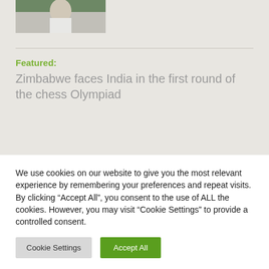[Figure (photo): Partial photo of a person wearing white clothing against a green background, cropped at top of page]
Featured:
Zimbabwe faces India in the first round of the chess Olympiad
We use cookies on our website to give you the most relevant experience by remembering your preferences and repeat visits. By clicking “Accept All”, you consent to the use of ALL the cookies. However, you may visit "Cookie Settings" to provide a controlled consent.
Cookie Settings
Accept All